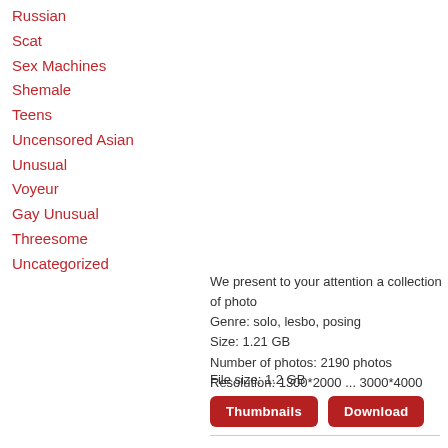Russian
Scat
Sex Machines
Shemale
Teens
Uncensored Asian
Unusual
Voyeur
Gay Unusual
Threesome
Uncategorized
We present to your attention a collection of photo
Genre: solo, lesbo, posing
Size: 1.21 GB
Number of photos: 2190 photos
Resolution: 1300*2000 ... 3000*4000
File size: 1.2 GB